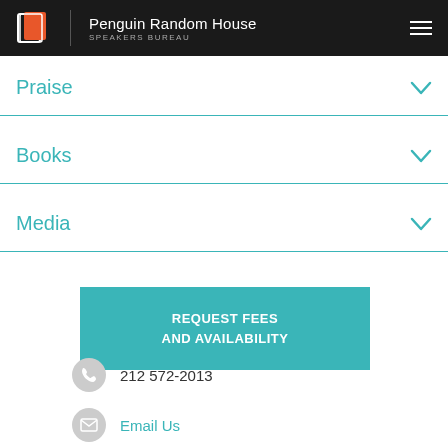Penguin Random House SPEAKERS BUREAU
Praise
Books
Media
REQUEST FEES AND AVAILABILITY
212 572-2013
Email Us